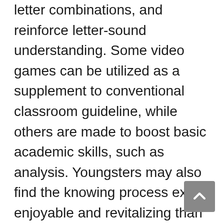letter combinations, and reinforce letter-sound understanding. Some video games can be utilized as a supplement to conventional classroom guideline, while others are made to boost basic academic skills, such as analysis. Youngsters may also find the knowing process extra enjoyable and revitalizing than it otherwise would certainly be. Developing a lot more fluent viewers than in the past.
Along with classroom use computer games for literacy education and learning, interactive internet sites and mobile applications are additionally a beneficial source. ABCya, a popular instructional video game platform, includes countless games arranged by grade level as well as